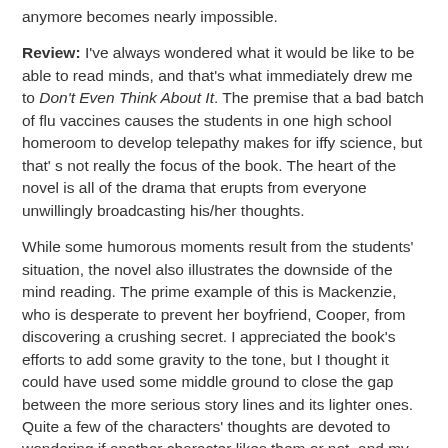anymore becomes nearly impossible.
Review: I've always wondered what it would be like to be able to read minds, and that's what immediately drew me to Don't Even Think About It. The premise that a bad batch of flu vaccines causes the students in one high school homeroom to develop telepathy makes for iffy science, but that's not really the focus of the book. The heart of the novel is all of the drama that erupts from everyone unwillingly broadcasting his/her thoughts.
While some humorous moments result from the students' situation, the novel also illustrates the downside of the mind reading. The prime example of this is Mackenzie, who is desperate to prevent her boyfriend, Cooper, from discovering a crushing secret. I appreciated the book's efforts to add some gravity to the tone, but I thought it could have used some middle ground to close the gap between the more serious story lines and its lighter ones. Quite a few of the characters' thoughts are devoted to wondering if another character likes them or not, and my over 30 self wasn't too keen on the high school relationship melodramatics.